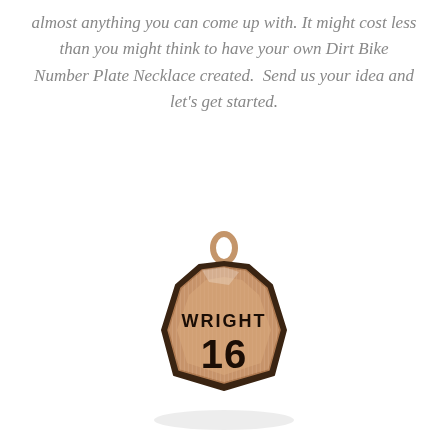almost anything you can come up with. It might cost less than you might think to have your own Dirt Bike Number Plate Necklace created.  Send us your idea and let's get started.
[Figure (photo): A rose gold dirt bike number plate necklace pendant with the name WRIGHT and number 16 engraved on it, shaped like a motocross number plate.]